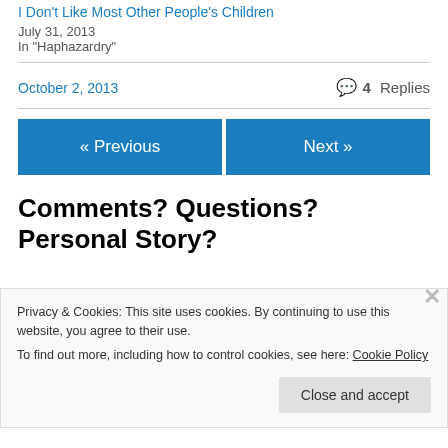I Don't Like Most Other People's Children
July 31, 2013
In "Haphazardry"
October 2, 2013   💬 4 Replies
« Previous   Next »
Comments? Questions? Personal Story?
Privacy & Cookies: This site uses cookies. By continuing to use this website, you agree to their use.
To find out more, including how to control cookies, see here: Cookie Policy
Close and accept